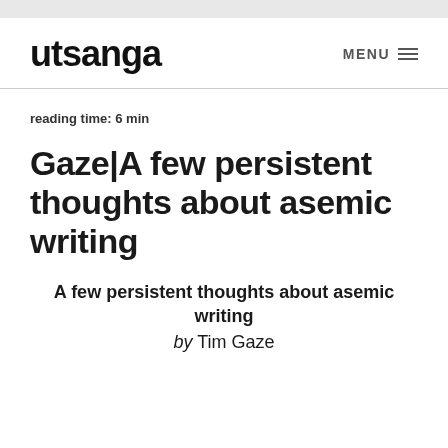utsanga
reading time: 6 min
Gaze|A few persistent thoughts about asemic writing
A few persistent thoughts about asemic writing
by Tim Gaze